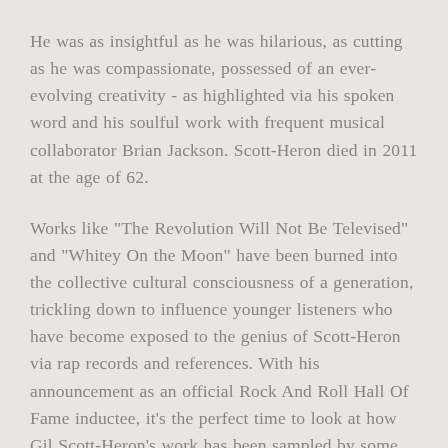He was as insightful as he was hilarious, as cutting as he was compassionate, possessed of an ever-evolving creativity - as highlighted via his spoken word and his soulful work with frequent musical collaborator Brian Jackson. Scott-Heron died in 2011 at the age of 62.
Works like "The Revolution Will Not Be Televised" and "Whitey On the Moon" have been burned into the collective cultural consciousness of a generation, trickling down to influence younger listeners who have become exposed to the genius of Scott-Heron via rap records and references. With his announcement as an official Rock And Roll Hall Of Fame inductee, it's the perfect time to look at how Gil Scott-Heron's work has been sampled by some of Hip-Hop's most acclaimed acts.